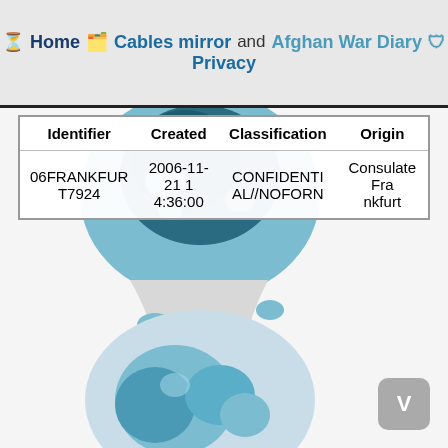Home  Cables mirror and Afghan War Diary  Privacy
| Identifier | Created | Classification | Origin |
| --- | --- | --- | --- |
| 06FRANKFUR T7924 | 2006-11-21 1 4:36:00 | CONFIDENTI AL//NOFORN | Consulate Fra nkfurt |
[Figure (logo): WikiLeaks hourglass logo with globe and dripping liquid design on white/grey background]
V